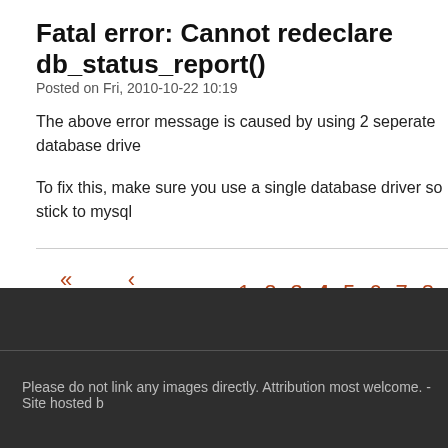Fatal error: Cannot redeclare db_status_report()
Posted on Fri, 2010-10-22 10:19
The above error message is caused by using 2 seperate database drive
To fix this, make sure you use a single database driver so stick to mysql
« first ‹ previous 1 2 3 4 5 6 7 8
Please do not link any images directly. Attribution most welcome. - Site hosted b